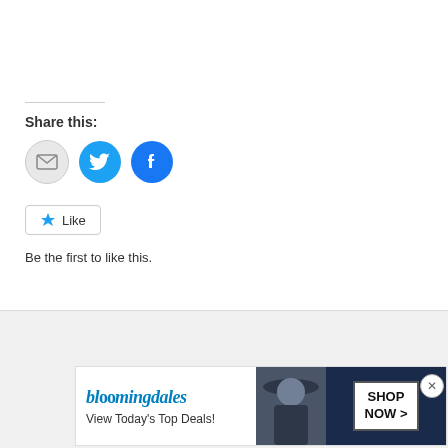Share this:
[Figure (infographic): Social share buttons: email (grey circle), Twitter (blue circle with bird icon), Facebook (blue circle with f icon)]
[Figure (infographic): Like button with star icon and text 'Like', followed by 'Be the first to like this.']
Be the first to like this.
Smorgasbord: Summer in the
[Figure (infographic): Bloomingdale's advertisement banner: 'bloomingdales / View Today's Top Deals!' with 'SHOP NOW >' button and a woman in a wide-brim hat]
Advertisements